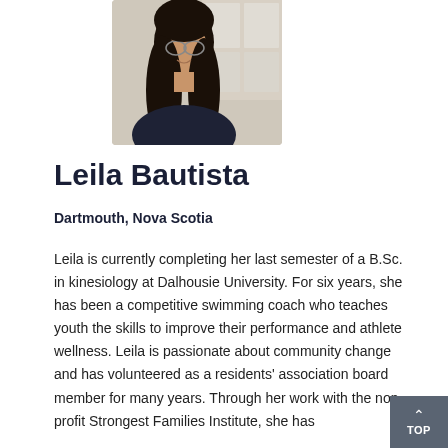[Figure (photo): Headshot photograph of Leila Bautista, a young woman with long dark hair and glasses, wearing a dark navy top, smiling, with a blurred indoor background.]
Leila Bautista
Dartmouth, Nova Scotia
Leila is currently completing her last semester of a B.Sc. in kinesiology at Dalhousie University. For six years, she has been a competitive swimming coach who teaches youth the skills to improve their performance and athlete wellness. Leila is passionate about community change and has volunteered as a residents' association board member for many years. Through her work with the non-profit Strongest Families Institute, she has